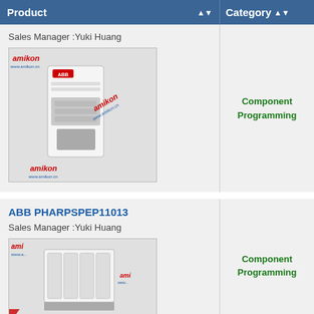| Product | Category |
| --- | --- |
| Sales Manager :Yuki Huang
[product image - amikon branded ABB component] | Component
Programming |
| ABB PHARPSPEP11013
Sales Manager :Yuki Huang
[product image - amikon branded ABB module] | Component
Programming |